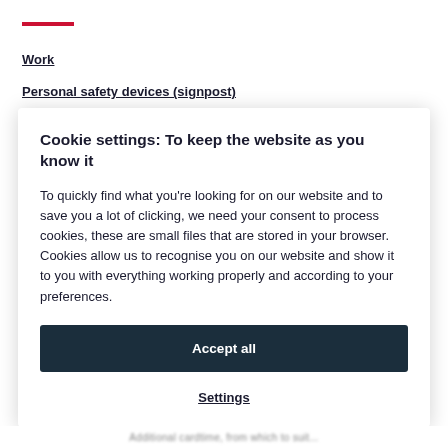Work
Personal safety devices (signpost)
Cookie settings: To keep the website as you know it
To quickly find what you're looking for on our website and to save you a lot of clicking, we need your consent to process cookies, these are small files that are stored in your browser. Cookies allow us to recognise you on our website and show it to you with everything working properly and according to your preferences.
Accept all
Settings